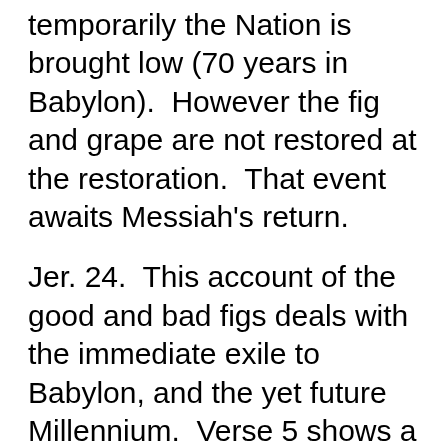temporarily the Nation is brought low (70 years in Babylon).  However the fig and grape are not restored at the restoration.  That event awaits Messiah's return.
Jer. 24.  This account of the good and bad figs deals with the immediate exile to Babylon, and the yet future Millennium.  Verse 5 shows a definite selection, verse 6 a re-establishment in the land, and no plucking out (Millennium); verse 7 a change of heart in Israel, and an irreversible reuniting of Jehovah and Israel (Millennial), verses 8-10, the dispersion after AD 70.
Jer. 29:17.  Here is definition and judgement